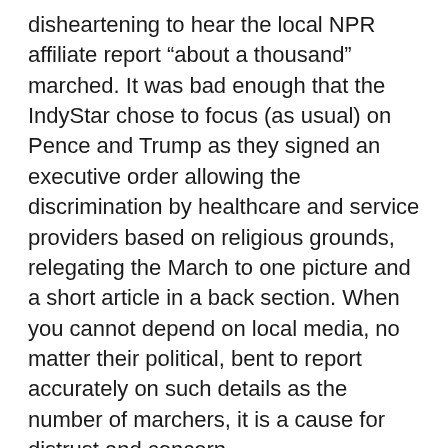disheartening to hear the local NPR affiliate report “about a thousand” marched. It was bad enough that the IndyStar chose to focus (as usual) on Pence and Trump as they signed an executive order allowing the discrimination by healthcare and service providers based on religious grounds, relegating the March to one picture and a short article in a back section. When you cannot depend on local media, no matter their political, bent to report accurately on such details as the number of marchers, it is a cause for distrust and concern.
Well JD, that is Indianapolis – As I said recently here our local PBS TV Station has had Lawrence Welk, every Saturday Night at 7 PM for as long as I can remember. It is best to keep the mind numbed here in Indiana.